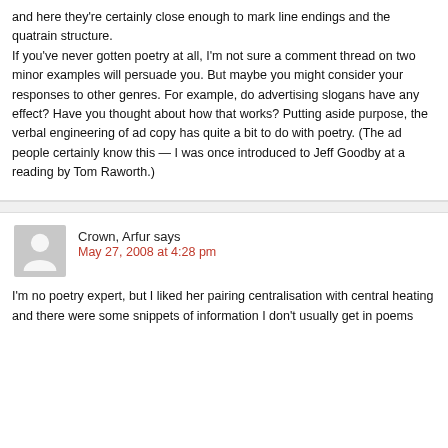and here they're certainly close enough to mark line endings and the quatrain structure. If you've never gotten poetry at all, I'm not sure a comment thread on two minor examples will persuade you. But maybe you might consider your responses to other genres. For example, do advertising slogans have any effect? Have you thought about how that works? Putting aside purpose, the verbal engineering of ad copy has quite a bit to do with poetry. (The ad people certainly know this — I was once introduced to Jeff Goodby at a reading by Tom Raworth.)
Crown, Arfur says
May 27, 2008 at 4:28 pm
I'm no poetry expert, but I liked her pairing centralisation with central heating and there were some snippets of information I don't usually get in poems